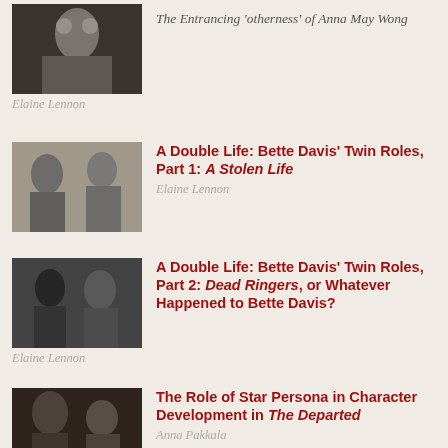[Figure (photo): Black and white photo of Anna May Wong in costume]
The Entrancing 'otherness' of Anna May Wong
Elaine Lennon
[Figure (photo): Black and white film still from A Stolen Life with two figures]
A Double Life: Bette Davis' Twin Roles, Part 1: A Stolen Life
Elaine Lennon
[Figure (photo): Black and white film still showing two women, Dead Ringers]
A Double Life: Bette Davis' Twin Roles, Part 2: Dead Ringers, or Whatever Happened to Bette Davis?
Elaine Lennon
[Figure (photo): Black and white film still from The Departed with young men]
The Role of Star Persona in Character Development in The Departed
Anna Pakkala